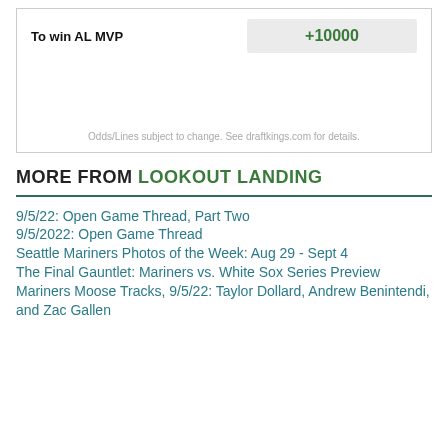| To win AL MVP |  |
| --- | --- |
| To win AL MVP | +10000 |
Odds/Lines subject to change. See draftkings.com for details.
MORE FROM LOOKOUT LANDING
9/5/22: Open Game Thread, Part Two
9/5/2022: Open Game Thread
Seattle Mariners Photos of the Week: Aug 29 - Sept 4
The Final Gauntlet: Mariners vs. White Sox Series Preview
Mariners Moose Tracks, 9/5/22: Taylor Dollard, Andrew Benintendi, and Zac Gallen